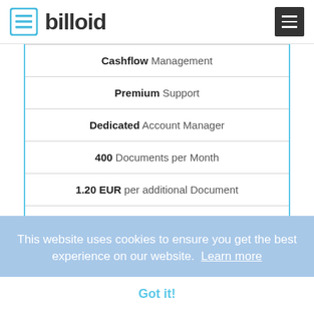billoid
Cashflow Management
Premium Support
Dedicated Account Manager
400 Documents per Month
1.20 EUR per additional Document
Sign up
This website uses cookies to ensure you get the best experience on our website. Learn more
Got it!